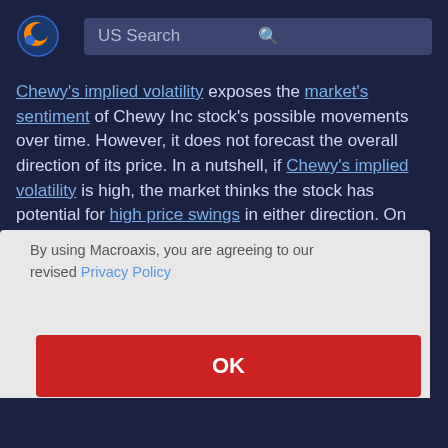US Search
Chewy's implied volatility exposes the market's sentiment of Chewy Inc stock's possible movements over time. However, it does not forecast the overall direction of its price. In a nutshell, if Chewy's implied volatility is high, the market thinks the stock has potential for high price swings in either direction. On the other hand, a lot
By using Macroaxis, you are agreeing to our revised Privacy Policy
OK